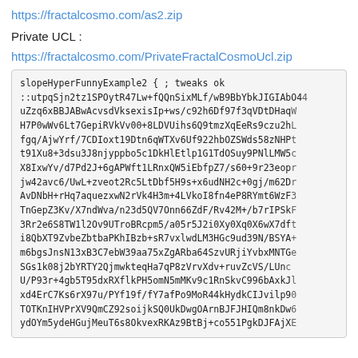https://fractalcosmo.com/as2.zip
Private UCL :
https://fractalcosmo.com/PrivateFractalCosmoUcl.zip
slopeHyperFunnyExample2 {
; tweaks ok
::utpqSjn2tz1SPOytR47Lw+fQQnSixMLf/wB9BbYbkJIGIAbO44
  uZzq6xBBJABwAcvsdVksexisIp+ws/c92h6Df97f3qVDtDHaqW
  H7P0wWv6Lt7GepiRVkVv00+8LDVUihs6Q9tmzXqEeRs9czu2hL
  fgq/AjwYrf/7CDIoxt19Dtn6qWTXv6Uf922hbOZSWds58zNHPt
  t91Xu8+3dsu3J8njyppbo5c1DkHlEtlp1G1TdOSuy9PNlLMW5c
  X8IxwYv/d7Pd2J+6gAPWft1LRnxQW5iEbfpZ7/s60+9r23eopr
  jw42avc6/UwL+zveot2Rc5LtDbf5H9s+x6udNH2c+0gj/m62Dr
  AvDNbH+rHq7aquezxwN2rVk4H3m+4LVkoI8fn4eP8RYmt6WzF3
  TnGepZ3Kv/X7ndWva/n23d5QV7Onn66ZdF/Rv42M+/b7rIPSkF
  3Rr2e6S8TW1l2Ov9UTroBRcpm5/a05r5J2i0Xy0Xq0X6wX7dft
  i8QbXT9ZvbeZbtbaPKhIBzb+sR7vxlwdLM3HGc9ud39N/BSYA+
  m6bgsJnsN13xB3C7ebW39aa75xZgARba64SzvURjiYvbxMNTGe
  SGs1k08j2bYRTY2QjmwkteqHa7qP8zVrvXdv+ruvZcVS/LUnc
  U/P93r+4gb5T95dxRXflkPH5omN5mMKv9c1RnSkvC996bAxkJl
  xd4ErC7Ks6rX97u/PYf19f/fY7afPo9MoR44kHydkCIJvilp90
  TOTKnIHVPrXV9QmCZ92soijkSQ0UkDwgOArnBJFJHIQm8nkDw6
  ydOYm5ydeHGujMeuT6s8OkvexRKAz9BtBj+co551PgkDJFAjXE